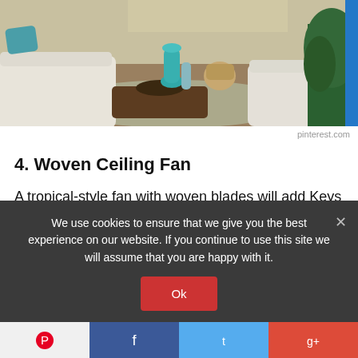[Figure (photo): Interior living room photo with white slipcovered sofas, a teal vase on a dark wood coffee table, teal/white patterned cushions, and tropical plants. Coastal/Keys style decor.]
pinterest.com
4. Woven Ceiling Fan
A tropical-style fan with woven blades will add Keys texture to the sunroom or porch.
5. Bahama Shutters These shutters shade the sun while allowing ventilation. They are a distinctive architectural element in Key West style homes. The
We use cookies to ensure that we give you the best experience on our website. If you continue to use this site we will assume that you are happy with it.